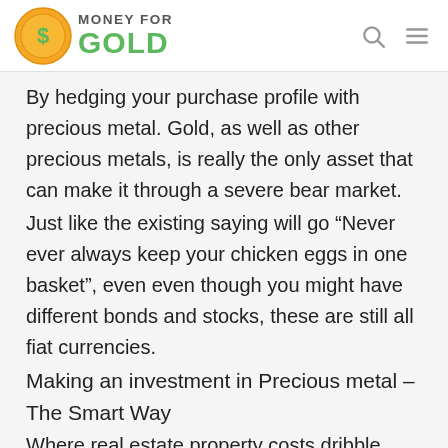MONEY FOR GOLD
By hedging your purchase profile with precious metal. Gold, as well as other precious metals, is really the only asset that can make it through a severe bear market.
Just like the existing saying will go “Never ever always keep your chicken eggs in one basket”, even even though you might have different bonds and stocks, these are still all fiat currencies.
Making an investment in Precious metal – The Smart Way
Where real estate property costs dribble, stock